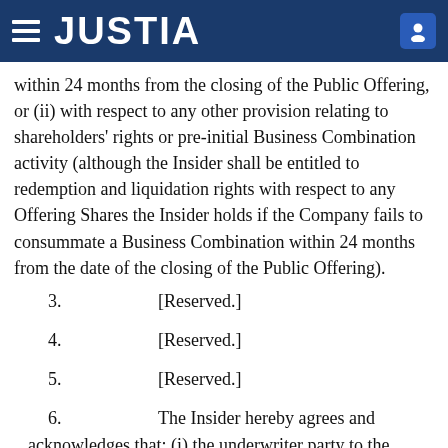JUSTIA
within 24 months from the closing of the Public Offering, or (ii) with respect to any other provision relating to shareholders' rights or pre-initial Business Combination activity (although the Insider shall be entitled to redemption and liquidation rights with respect to any Offering Shares the Insider holds if the Company fails to consummate a Business Combination within 24 months from the date of the closing of the Public Offering).
3.    [Reserved.]
4.    [Reserved.]
5.    [Reserved.]
6.    The Insider hereby agrees and acknowledges that: (i) the underwriter party to the